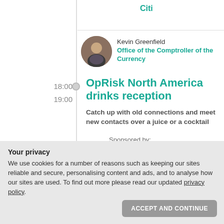Citi
[Figure (photo): Portrait photo of Kevin Greenfield, circular crop]
Kevin Greenfield
Office of the Comptroller of the Currency
18:00 – 19:00
OpRisk North America drinks reception
Catch up with old connections and meet new contacts over a juice or a cocktail
Sponsored by:
Your privacy
We use cookies for a number of reasons such as keeping our sites reliable and secure, personalising content and ads, and to analyse how our sites are used. To find out more please read our updated privacy policy.
ACCEPT AND CONTINUE